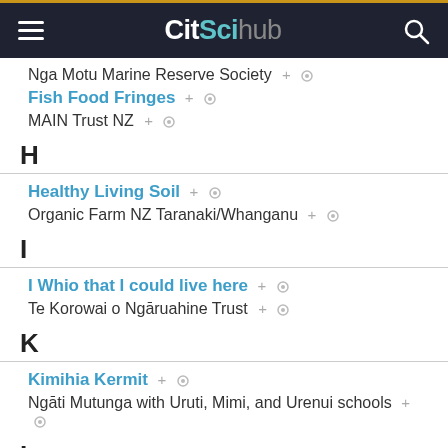CitScihub
Nga Motu Marine Reserve Society
Fish Food Fringes
MAIN Trust NZ
H
Healthy Living Soil
Organic Farm NZ Taranaki/Whanganu
I
I Whio that I could live here
Te Korowai o Ngāruahine Trust
K
Kimihia Kermit
Ngāti Mutunga with Uruti, Mimi, and Urenui schools
L
Litter Intelligence